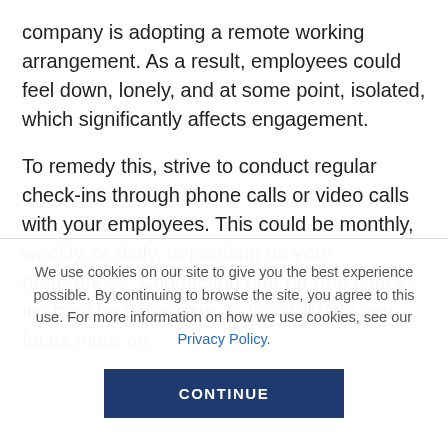company is adopting a remote working arrangement. As a result, employees could feel down, lonely, and at some point, isolated, which significantly affects engagement.
To remedy this, strive to conduct regular check-ins through phone calls or video calls with your employees. This could be monthly, weekly, or daily, depending on your preferences. Conducting one-on-one check-ins may be necessary as this will help you focus more on
We use cookies on our site to give you the best experience possible. By continuing to browse the site, you agree to this use. For more information on how we use cookies, see our Privacy Policy.
CONTINUE